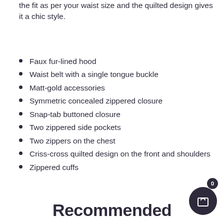the fit as per your waist size and the quilted design gives it a chic style.
Faux fur-lined hood
Waist belt with a single tongue buckle
Matt-gold accessories
Symmetric concealed zippered closure
Snap-tab buttoned closure
Two zippered side pockets
Two zippers on the chest
Criss-cross quilted design on the front and shoulders
Zippered cuffs
Recommended